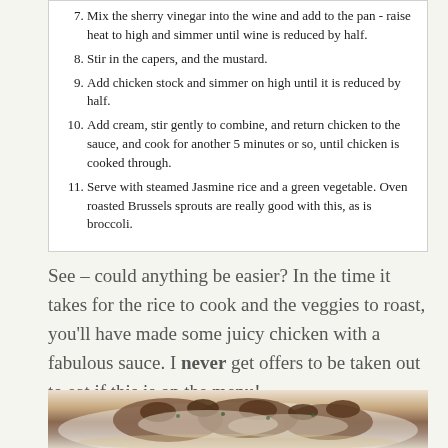7. Mix the sherry vinegar into the wine and add to the pan - raise heat to high and simmer until wine is reduced by half.
8. Stir in the capers, and the mustard.
9. Add chicken stock and simmer on high until it is reduced by half.
10. Add cream, stir gently to combine, and return chicken to the sauce, and cook for another 5 minutes or so, until chicken is cooked through.
11. Serve with steamed Jasmine rice and a green vegetable. Oven roasted Brussels sprouts are really good with this, as is broccoli.
See – could anything be easier? In the time it takes for the rice to cook and the veggies to roast, you'll have made some juicy chicken with a fabulous sauce. I never get offers to be taken out to eat if this is on the menu!
[Figure (photo): Photo of cooked chicken with mushroom cream sauce served on a white plate]